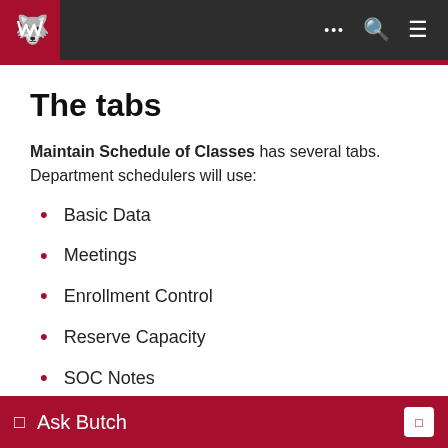WSU navigation bar with logo and menu icons
The tabs
Maintain Schedule of Classes has several tabs. Department schedulers will use:
Basic Data
Meetings
Enrollment Control
Reserve Capacity
SOC Notes
Ask Butch